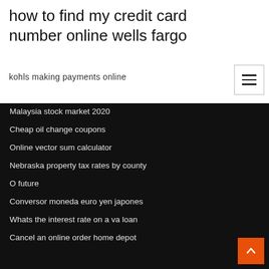how to find my credit card number online wells fargo
kohls making payments online
Malaysia stock market 2020
Cheap oil change coupons
Online vector sum calculator
Nebraska property tax rates by county
O future
Conversor moneda euro yen japones
Whats the interest rate on a va loan
Cancel an online order home depot